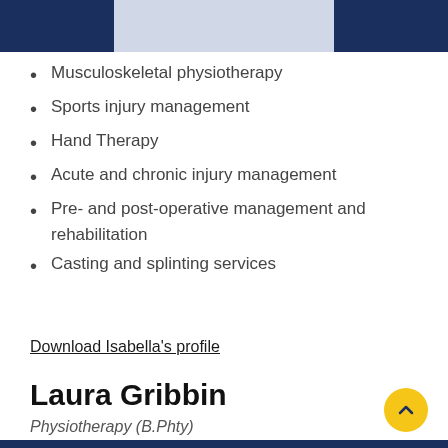[Figure (photo): Top portion of a person in a white shirt/coat against a dark navy blue background — partial view photo strip]
Musculoskeletal physiotherapy
Sports injury management
Hand Therapy
Acute and chronic injury management
Pre- and post-operative management and rehabilitation
Casting and splinting services
Download Isabella's profile
Laura Gribbin
Physiotherapy (B.Phty)